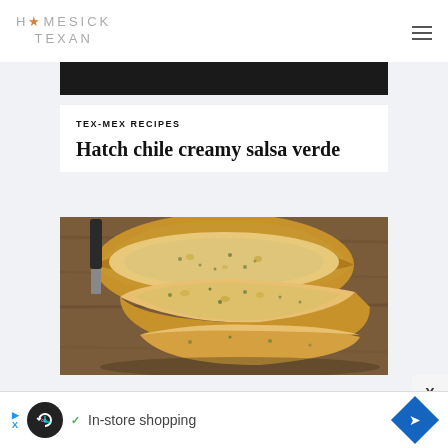HOMESICK TEXAN
[Figure (photo): Dark strip image at top of content area]
TEX-MEX RECIPES
Hatch chile creamy salsa verde
[Figure (photo): Sliced golden-brown loaf bread on a wooden cutting board, showing herb-flecked interior crumb]
In-store shopping (advertisement banner)